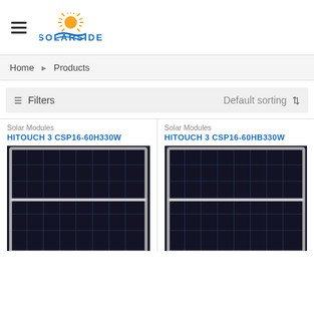[Figure (logo): Solarside logo with sun graphic and blue wave, blue bold text SOLARSIDE]
Home ▸ Products
Filters   Default sorting
Solar Modules
HITOUCH 3 CSP16-60H330W
[Figure (photo): Solar panel module dark blue/black grid with silver frame]
Solar Modules
HITOUCH 3 CSP16-60HB330W
[Figure (photo): Solar panel module dark blue/black grid with silver frame]